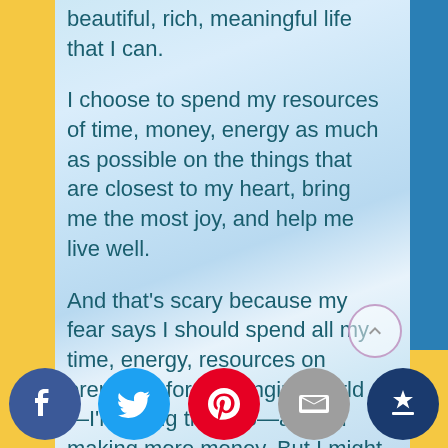beautiful, rich, meaningful life that I can.
I choose to spend my resources of time, money, energy as much as possible on the things that are closest to my heart, bring me the most joy, and help me live well.
And that's scary because my fear says I should spend all my time, energy, resources on preparing for a changing world—I'm doing that too—and on making more money. But I might not be around to enjoy that money. Whereas if I have more time making